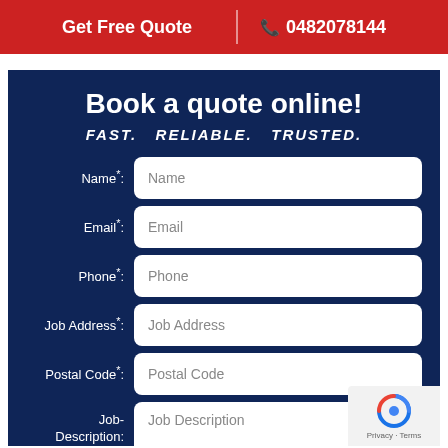Get Free Quote | 0482078144
Book a quote online!
FAST.  RELIABLE.  TRUSTED.
Name*: Name (input field)
Email*: Email (input field)
Phone*: Phone (input field)
Job Address*: Job Address (input field)
Postal Code*: Postal Code (input field)
Job-Description: Job Description (textarea field)